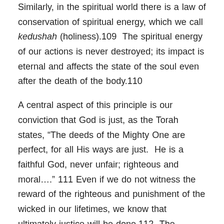Similarly, in the spiritual world there is a law of conservation of spiritual energy, which we call kedushah (holiness).109  The spiritual energy of our actions is never destroyed; its impact is eternal and affects the state of the soul even after the death of the body.110
A central aspect of this principle is our conviction that God is just, as the Torah states, “The deeds of the Mighty One are perfect, for all His ways are just.  He is a faithful God, never unfair; righteous and moral….” 111 Even if we do not witness the reward of the righteous and punishment of the wicked in our lifetimes, we know that ultimately justice will be done.112  The slightest act of goodness is noted and rewarded,113 as are good intentions even if they do not come to fruition.  If someone tried to do the right thing but was unable to succeed due to circumstances beyond his control, that intention too will be rewarded.114  At times, God may